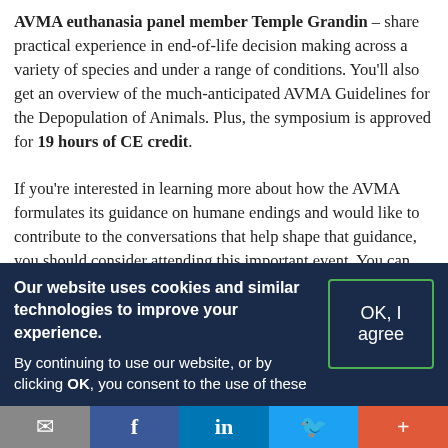AVMA euthanasia panel member Temple Grandin – share practical experience in end-of-life decision making across a variety of species and under a range of conditions. You'll also get an overview of the much-anticipated AVMA Guidelines for the Depopulation of Animals. Plus, the symposium is approved for 19 hours of CE credit.
If you're interested in learning more about how the AVMA formulates its guidance on humane endings and would like to contribute to the conversations that help shape that guidance, you should consider attending this important event. You can learn more and register
Our website uses cookies and similar technologies to improve your experience. By continuing to use our website, or by clicking OK, you consent to the use of these
OK, I agree
Email | Facebook | LinkedIn | Twitter | More